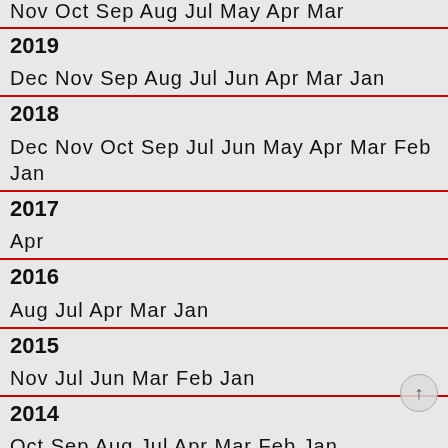Nov Oct Sep Aug Jul May Apr Mar
2019
Dec Nov Sep Aug Jul Jun Apr Mar Jan
2018
Dec Nov Oct Sep Jul Jun May Apr Mar Feb Jan
2017
Apr
2016
Aug Jul Apr Mar Jan
2015
Nov Jul Jun Mar Feb Jan
2014
Oct Sep Aug Jul Apr Mar Feb Jan
2013
Dec Nov Sep Jul Jun May Apr Mar Feb Jan
2012
Nov Oct Sep Aug Jun May Apr Mar Feb Jan